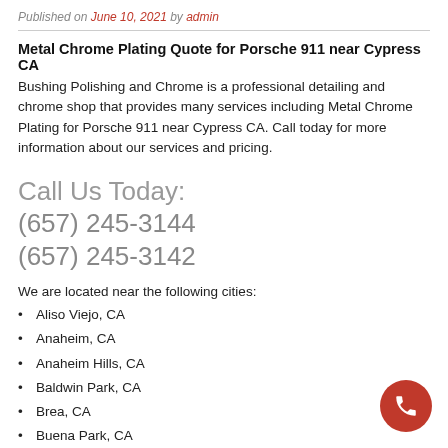Published on June 10, 2021 by admin
Metal Chrome Plating Quote for Porsche 911 near Cypress CA
Bushing Polishing and Chrome is a professional detailing and chrome shop that provides many services including Metal Chrome Plating for Porsche 911 near Cypress CA. Call today for more information about our services and pricing.
Call Us Today:
(657) 245-3144
(657) 245-3142
We are located near the following cities:
Aliso Viejo, CA
Anaheim, CA
Anaheim Hills, CA
Baldwin Park, CA
Brea, CA
Buena Park, CA
Cerritos, CA